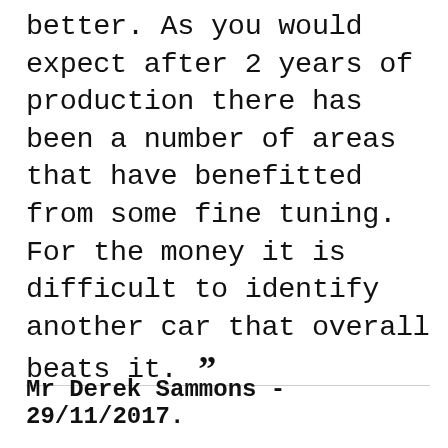better. As you would expect after 2 years of production there has been a number of areas that have benefitted from some fine tuning. For the money it is difficult to identify another car that overall beats it. ””
Mr Derek Sammons - 29/11/2017.